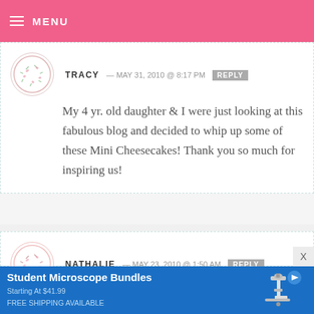MENU
TRACY — MAY 31, 2010 @ 8:17 PM  REPLY
My 4 yr. old daughter & I were just looking at this fabulous blog and decided to whip up some of these Mini Cheesecakes! Thank you so much for inspiring us!
NATHALIE — MAY 23, 2010 @ 1:50 AM  REPLY
these are amazing! but I only have one problem.. why is it that everytime i
[Figure (infographic): Advertisement banner for Student Microscope Bundles starting at $41.99, free shipping available, with microscope illustration]